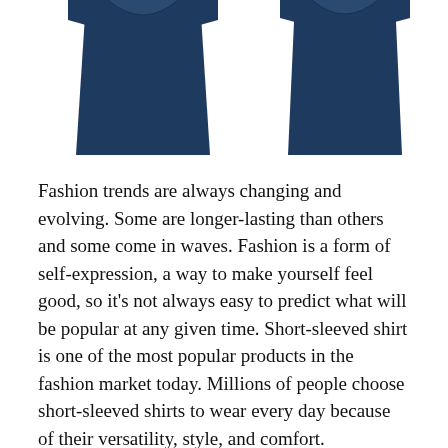[Figure (photo): Two navy blue short-sleeved shirts shown from the front, partially cropped, displayed side by side at the top of the page]
Fashion trends are always changing and evolving. Some are longer-lasting than others and some come in waves. Fashion is a form of self-expression, a way to make yourself feel good, so it's not always easy to predict what will be popular at any given time. Short-sleeved shirt is one of the most popular products in the fashion market today. Millions of people choose short-sleeved shirts to wear every day because of their versatility, style, and comfort.
[Figure (photo): A white/light grey short-sleeved shirt shown from the front, partially cropped at the bottom of the page]